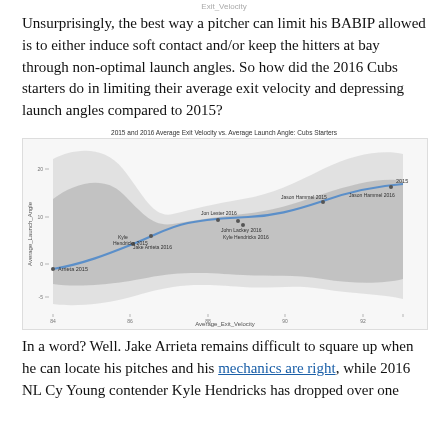Exit_Velocity
Unsurprisingly, the best way a pitcher can limit his BABIP allowed is to either induce soft contact and/or keep the hitters at bay through non-optimal launch angles. So how did the 2016 Cubs starters do in limiting their average exit velocity and depressing launch angles compared to 2015?
[Figure (continuous-plot): 2015 and 2016 Average Exit Velocity vs. Average Launch Angle: Cubs Starters. Scatter plot with a smooth trend line and confidence band. Points labeled include Arrieta 2015, Kyle Hendricks 2015, Jake Arrieta 2016, Jon Lester 2016, John Lackey 2016, Kyle Hendricks 2016, Jason Hammel 2015, Jason Hammel 2016, and others. X-axis: Average_Exit_Velocity, Y-axis: Average_Launch_Angle.]
2015 and 2016 Average Exit Velocity vs. Average Launch Angle: Cubs Starters
In a word? Well. Jake Arrieta remains difficult to square up when he can locate his pitches and his mechanics are right, while 2016 NL Cy Young contender Kyle Hendricks has dropped over one